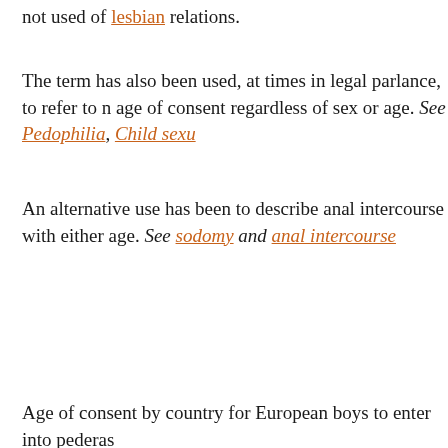not used of lesbian relations.
The term has also been used, at times in legal parlance, to refer to n age of consent regardless of sex or age. See Pedophilia, Child sexu
An alternative use has been to describe anal intercourse with either age. See sodomy and anal intercourse
Age of consent by country for European boys to enter into pederas